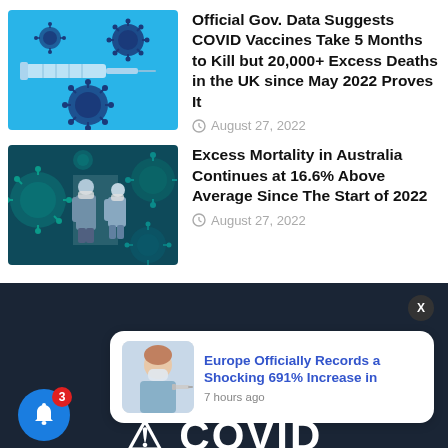[Figure (photo): Blue background with syringe and coronavirus particles illustration]
Official Gov. Data Suggests COVID Vaccines Take 5 Months to Kill but 20,000+ Excess Deaths in the UK since May 2022 Proves It
August 27, 2022
[Figure (photo): People walking with masks and coronavirus particles background]
Excess Mortality in Australia Continues at 16.6% Above Average Since The Start of 2022
August 27, 2022
[Figure (photo): Woman receiving vaccine injection, notification card image]
Europe Officially Records a Shocking 691% Increase in
7 hours ago
COVID